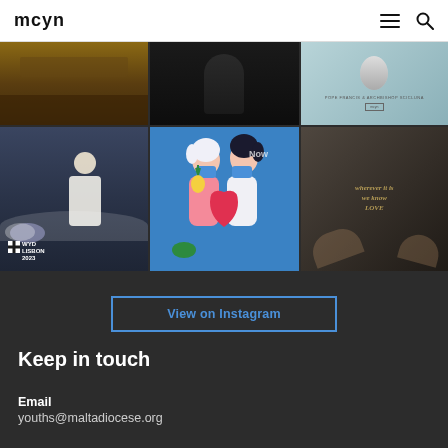mcyn
[Figure (photo): Grid of 6 Instagram photos: courtroom, dark figure portrait, Pope Francis card, Pope at WYD Lisbon 2023 crowd, illustrated couple hugging with heart, dark close-up of hands]
View on Instagram
Keep in touch
Email
youths@maltadiocese.org